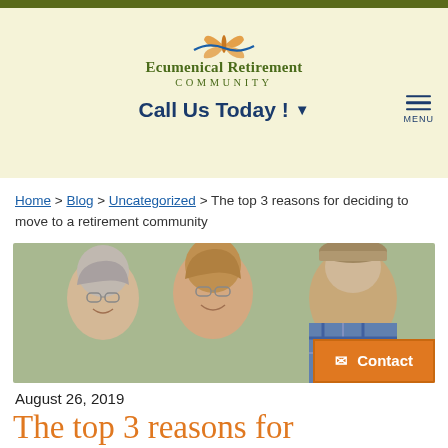[Figure (logo): Ecumenical Retirement Community logo with orange butterfly and blue swoosh, green serif text]
Call Us Today !  ▾   MENU
Home > Blog > Uncategorized > The top 3 reasons for deciding to move to a retirement community
[Figure (photo): Three elderly people smiling outdoors, two women and one man wearing a hat]
August 26, 2019
The top 3 reasons for